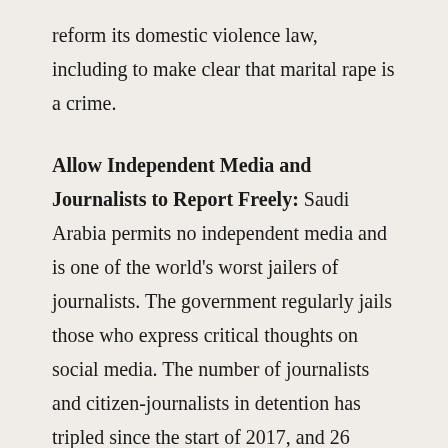reform its domestic violence law, including to make clear that marital rape is a crime.
Allow Independent Media and Journalists to Report Freely: Saudi Arabia permits no independent media and is one of the world's worst jailers of journalists. The government regularly jails those who express critical thoughts on social media. The number of journalists and citizen-journalists in detention has tripled since the start of 2017, and 26 journalists were imprisoned by Saudi Arabia as of 2019.
Abolish the Sponsorship System of Modern-Day Slavery: Under Saudi Arabia's sponsorship (kafala)